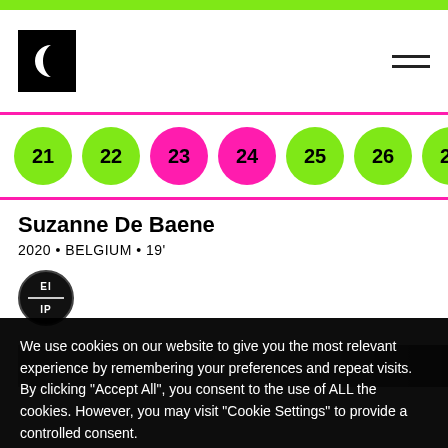[Figure (logo): Dark crescent moon logo on black square background]
[Figure (infographic): Row of numbered circles: 21, 22 (green), 23, 24 (pink), 25, 26, 27, 28, 29 (green), partial circle (pink)]
Suzanne De Baene
2020 • BELGIUM • 19'
[Figure (logo): EIIP badge — black circle with EI on top and IP on bottom, divided by horizontal line]
[Figure (photo): Partial black and white photograph strip]
We use cookies on our website to give you the most relevant experience by remembering your preferences and repeat visits. By clicking "Accept All", you consent to the use of ALL the cookies. However, you may visit "Cookie Settings" to provide a controlled consent.
Cookie Settings
Accept All